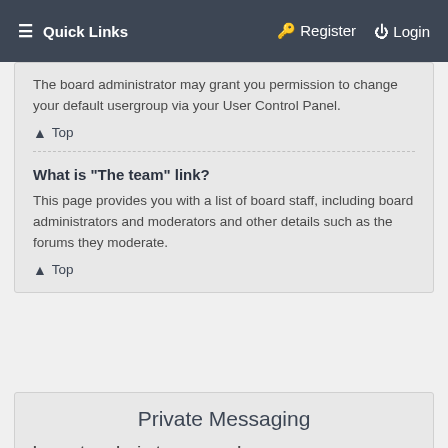≡ Quick Links    Register   Login
The board administrator may grant you permission to change your default usergroup via your User Control Panel.
↑ Top
What is “The team” link?
This page provides you with a list of board staff, including board administrators and moderators and other details such as the forums they moderate.
↑ Top
Private Messaging
I cannot send private messages!